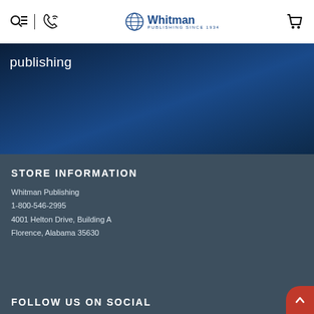Whitman Publishing Since 1934 [header with logo, search, phone, cart icons]
publishing
STORE INFORMATION
Whitman Publishing
1-800-546-2995
4001 Helton Drive, Building A
Florence, Alabama 35630
FOLLOW US ON SOCIAL